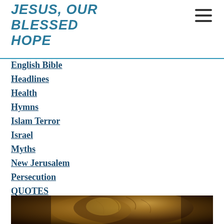JESUS, OUR BLESSED HOPE
English Bible
Headlines
Health
Hymns
Islam Terror
Israel
Myths
New Jerusalem
Persecution
QUOTES
Scripture
US Politics
World
[Figure (photo): Close-up photo of a lion's face/mane with warm golden-brown tones]